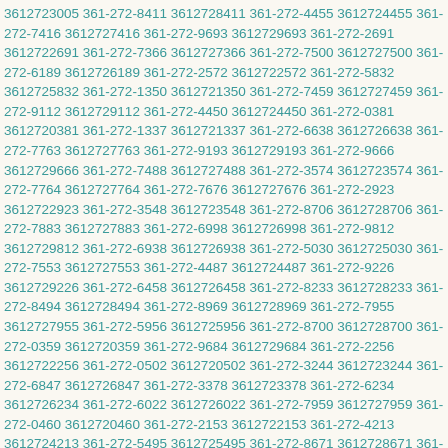3612723005 361-272-8411 3612728411 361-272-4455 3612724455 361-272-7416 3612727416 361-272-9693 3612729693 361-272-2691 3612722691 361-272-7366 3612727366 361-272-7500 3612727500 361-272-6189 3612726189 361-272-2572 3612722572 361-272-5832 3612725832 361-272-1350 3612721350 361-272-7459 3612727459 361-272-9112 3612729112 361-272-4450 3612724450 361-272-0381 3612720381 361-272-1337 3612721337 361-272-6638 3612726638 361-272-7763 3612727763 361-272-9193 3612729193 361-272-9666 3612729666 361-272-7488 3612727488 361-272-3574 3612723574 361-272-7764 3612727764 361-272-7676 3612727676 361-272-2923 3612722923 361-272-3548 3612723548 361-272-8706 3612728706 361-272-7883 3612727883 361-272-6998 3612726998 361-272-9812 3612729812 361-272-6938 3612726938 361-272-5030 3612725030 361-272-7553 3612727553 361-272-4487 3612724487 361-272-9226 3612729226 361-272-6458 3612726458 361-272-8233 3612728233 361-272-8494 3612728494 361-272-8969 3612728969 361-272-7955 3612727955 361-272-5956 3612725956 361-272-8700 3612728700 361-272-0359 3612720359 361-272-9684 3612729684 361-272-2256 3612722256 361-272-0502 3612720502 361-272-3244 3612723244 361-272-6847 3612726847 361-272-3378 3612723378 361-272-6234 3612726234 361-272-6022 3612726022 361-272-7959 3612727959 361-272-0460 3612720460 361-272-2153 3612722153 361-272-4213 3612724213 361-272-5495 3612725495 361-272-8671 3612728671 361-272-6485 3612726485 361-272-0960 3612720960 361-272-1708 3612721708 361-272-1211 3612721211 361-272-1601 3612721601 361-272-4739 3612724739 361-272-0793 3612720793 361-272-0675